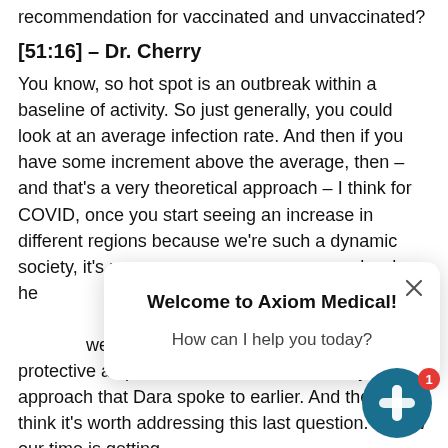recommendation for vaccinated and unvaccinated?
[51:16] – Dr. Cherry
You know, so hot spot is an outbreak within a baseline of activity. So just generally, you could look at an average infection rate. And then if you have some increment above the average, then – and that's a very theoretical approach – I think for COVID, once you start seeing an increase in different regions because we're such a dynamic society, it's really hard to think of true strict borders here in the U.S. And you really wouldn't be able to make that kind of calculation. And I think the take home is we're here now and we want to be as protective as possible for all of that multi-layered approach that Dara spoke to earlier. And then I think it's worth addressing this last question. I know our time is getting
[Figure (screenshot): Chat popup overlay from Axiom Medical with close button (×), bold heading 'Welcome to Axiom Medical!' and subtext 'How can I help you today?']
[Figure (logo): Axiom Medical circular teal logo with stylized cross/plus icon and red notification badge showing '1']